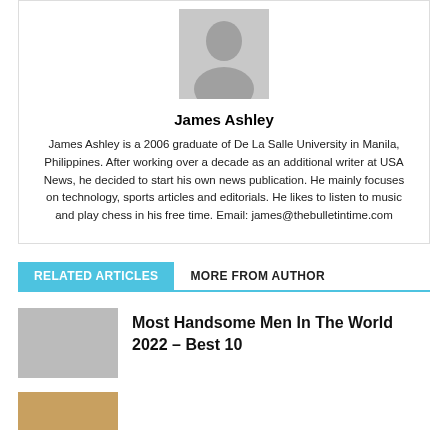[Figure (photo): Generic avatar/profile placeholder image in gray]
James Ashley
James Ashley is a 2006 graduate of De La Salle University in Manila, Philippines. After working over a decade as an additional writer at USA News, he decided to start his own news publication. He mainly focuses on technology, sports articles and editorials. He likes to listen to music and play chess in his free time. Email: james@thebulletintime.com
RELATED ARTICLES
MORE FROM AUTHOR
Most Handsome Men In The World 2022 – Best 10
[Figure (photo): Thumbnail image for an article]